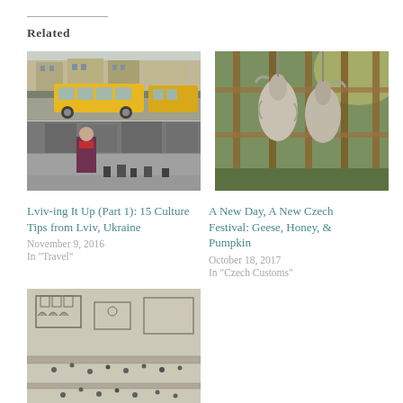Related
[Figure (photo): Two stacked photos: top shows yellow bus on city street in Lviv; bottom shows a woman in a city square.]
Lviv-ing It Up (Part 1): 15 Culture Tips from Lviv, Ukraine
November 9, 2016
In "Travel"
[Figure (photo): Photo of geese hanging upside down at an outdoor market or festival.]
A New Day, A New Czech Festival: Geese, Honey, & Pumpkin
October 18, 2017
In "Czech Customs"
[Figure (illustration): Illustrated map or artwork with black and white drawings of people and buildings.]
A Surprising Answer to the Question: Is Czech